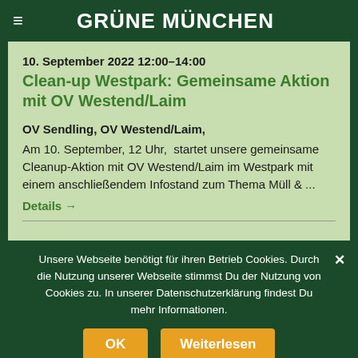GRÜNE MÜNCHEN
10. September 2022 12:00–14:00
Clean-up Westpark: Gemeinsame Aktion mit OV Westend/Laim
OV Sendling, OV Westend/Laim,
Am 10. September, 12 Uhr, startet unsere gemeinsame Cleanup-Aktion mit OV Westend/Laim im Westpark mit einem anschließendem Infostand zum Thema Müll & ...
Details →
Unsere Webseite benötigt für ihren Betrieb Cookies. Durch die Nutzung unserer Webseite stimmst Du der Nutzung von Cookies zu. In unserer Datenschutzerklärung findest Du mehr Informationen.
OK   Weiterlesen